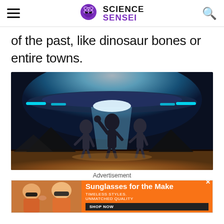Science Sensei
of the past, like dinosaur bones or entire towns.
[Figure (photo): Three alien figures standing in silhouette against a bright blue-white light emanating from a UFO above, with pyramids visible in the background at night.]
Advertisement
[Figure (photo): Advertisement banner showing two women wearing sunglasses with text 'Sunglasses for the Make' and a Shop Now button.]